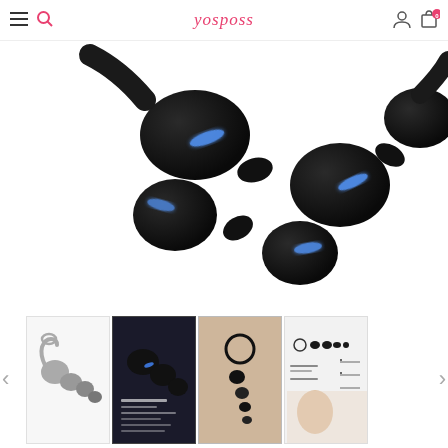yosposs - navigation header with menu, search, logo, user, and cart icons
[Figure (photo): Close-up product photo of a black silicone anal beads toy with blue light reflections on a white background]
[Figure (photo): Thumbnail 1: Gray/silver anal beads toy on white background]
[Figure (photo): Thumbnail 2: Product promotional image with descriptive text on dark background]
[Figure (photo): Thumbnail 3: Product in use lifestyle photo]
[Figure (photo): Thumbnail 4: Product features infographic with woman in background]